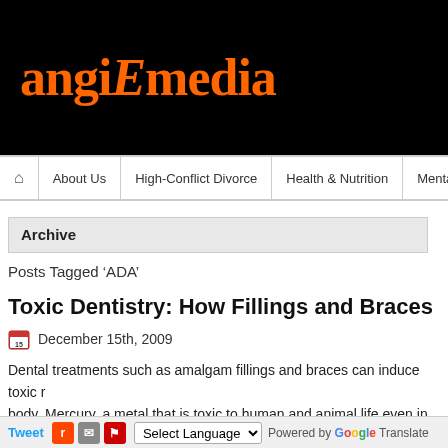[Figure (logo): angieEmedia logo in orange serif font on black background]
About Us | High-Conflict Divorce | Health & Nutrition | Mental Illness
Archive
Posts Tagged ‘ADA’
Toxic Dentistry: How Fillings and Braces Can Harm Yo
December 15th, 2009
Dental treatments such as amalgam fillings and braces can induce toxic reactions in the body. Mercury, a metal that is toxic to human and animal life even in small amounts, is an ingredient in dental amalgams, comprising about half of the content of the... are likely the biggest toxic metal risk you can find in dental care, metal allerg... stainless steel, particularly nickel, also cause some people to become ill. D... use of dental amalgams and to be aware of the possible symptoms and s... f... th... d... l...
Tweet | Reddit | Email | Select Language | Powered by Google Translate